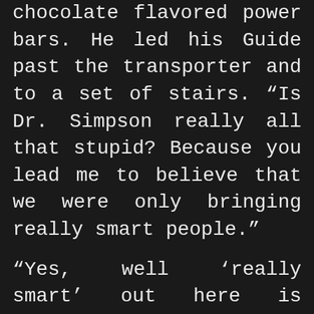chocolate flavored power bars. He led his Guide past the transporter and to a set of stairs. “Is Dr. Simpson really all that stupid? Because you lead me to believe that we were only bringing really smart people.”
“Yes, well ‘really smart’ out here is practically comatose.” Rodney rubbed the back of his neck as they left the stairs and headed down a hall towards the large conference room. “Why didn’t we take the transporter? Do you think I enjoy taking the stairs or something?”
John paused and considered telling his Guide a big fat lie but the uselessness of that wasn’t lost on him. “I can’t the